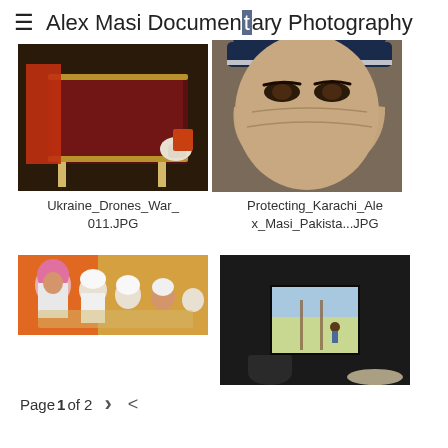≡  Alex Masi Documentary Photography
[Figure (photo): Photo of a coffin being handled with gloved hands, dark interior scene - Ukraine_Drones_War_011.JPG]
[Figure (photo): Close-up of a man with face covered by cloth wearing a POLICE cap - Protecting_Karachi_Alex_Masi_Pakista...JPG]
Ukraine_Drones_War_
011.JPG
Protecting_Karachi_Alex_Masi_Pakista...JPG
[Figure (photo): Children in a madrasa or classroom setting, girl with pink hijab in foreground]
[Figure (photo): Dark interior with bright doorway/window showing a figure running in a field outside]
Page 1 of 2  >  <